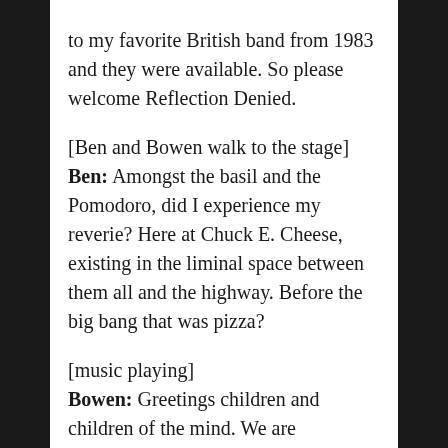to my favorite British band from 1983 and they were available. So please welcome Reflection Denied.
[Ben and Bowen walk to the stage]
Ben: Amongst the basil and the Pomodoro, did I experience my reverie? Here at Chuck E. Cheese, existing in the liminal space between them all and the highway. Before the big bang that was pizza?
[music playing]
Bowen: Greetings children and children of the mind. We are Reflection Denied but today I'm a vessel for the eponymous rodent, Charles Entertainment cheese.